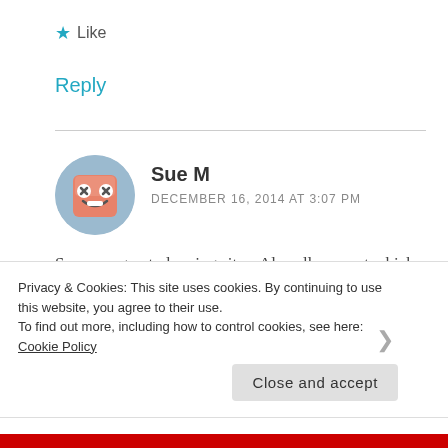★ Like
Reply
[Figure (illustration): Cartoon square face avatar with wide eyes and smile, pinkish-orange color, on blue-grey circular background — avatar for commenter Sue M]
Sue M
DECEMBER 16, 2014 AT 3:07 PM
So many great planning sites. Also all ears.net which has all WDW menus and loads of resort photos/video. And Passporter. Did
Privacy & Cookies: This site uses cookies. By continuing to use this website, you agree to their use.
To find out more, including how to control cookies, see here: Cookie Policy
Close and accept